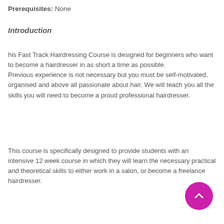Prerequisites: None
Introduction
his Fast Track Hairdressing Course is designed for beginners who want to become a hairdresser in as short a time as possible. Previous experience is not necessary but you must be self-motivated, organised and above all passionate about hair. We will teach you all the skills you will need to become a proud professional hairdresser.
This course is specifically designed to provide students with an intensive 12 week course in which they will learn the necessary practical and theoretical skills to either work in a salon, or become a freelance hairdresser.
[Figure (other): Pink/magenta circular scroll-to-top button with upward chevron arrow]